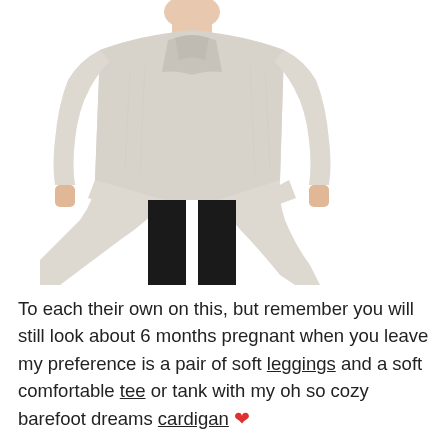[Figure (photo): A woman wearing a light grey/cream open-front longline cardigan over a white tank top with black pants. Only the body from chin down to mid-calf is visible. The cardigan has a relaxed shawl collar and draped hem.]
To each their own on this, but remember you will still look about 6 months pregnant when you leave my preference is a pair of soft leggings and a soft comfortable tee or tank with my oh so cozy barefoot dreams cardigan ❤